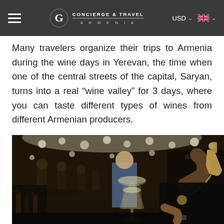Concierge & Travel Armenia — USD — EN
Many travelers organize their trips to Armenia during the wine days in Yerevan, the time when one of the central streets of the capital, Saryan, turns into a real “wine valley” for 3 days, where you can taste different types of wines from different Armenian producers.
[Figure (photo): Outdoor wine festival at night with string lights. A person pours white wine into a glass being held up, with a crowd of people seated in the background.]